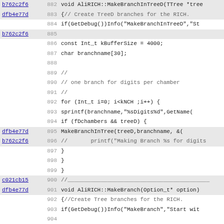Source code view showing C++ AliRICH class methods MakeBranchInTreeD and MakeBranch, lines 882-914, with git blame annotations (commit hashes dfb4e77d, b762c2f6, c021cb15).